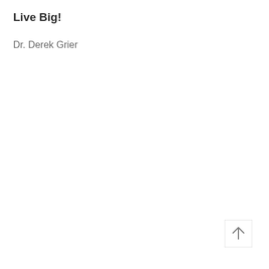Live Big!
Dr. Derek Grier
[Figure (other): A square button with an upward arrow icon, positioned in the bottom-right corner of the page.]